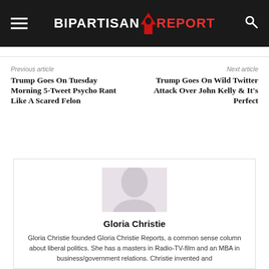BIPARTISAN REPORT
Previous article
Next article
Trump Goes On Tuesday Morning 5-Tweet Psycho Rant Like A Scared Felon
Trump Goes On Wild Twitter Attack Over John Kelly & It's Perfect
[Figure (photo): Portrait photo of Gloria Christie, a woman with light complexion, against a light background]
Gloria Christie
Gloria Christie founded Gloria Christie Reports, a common sense column about liberal politics. She has a masters in Radio-TV-film and an MBA in business/government relations. Christie invented and